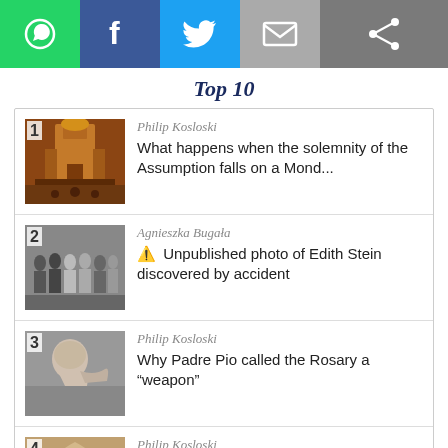[Figure (screenshot): Social sharing bar with WhatsApp (green), Facebook (blue), Twitter (light blue), Email (gray), and Share (gray) buttons]
Top 10
1 Philip Kosloski — What happens when the solemnity of the Assumption falls on a Mond...
2 Agnieszka Bugała — ⚠ Unpublished photo of Edith Stein discovered by accident
3 Philip Kosloski — Why Padre Pio called the Rosary a “weapon”
4 Philip Kosloski — Who in the Bible was assumed into Heaven?